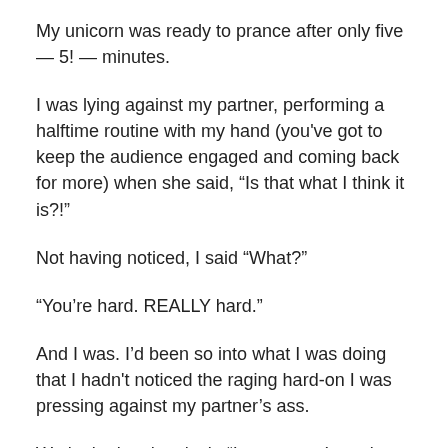My unicorn was ready to prance after only five — 5! — minutes.
I was lying against my partner, performing a halftime routine with my hand (you've got to keep the audience engaged and coming back for more) when she said, “Is that what I think it is?!”
Not having noticed, I said “What?”
“You’re hard. REALLY hard.”
And I was. I’d been so into what I was doing that I hadn't noticed the raging hard-on I was pressing against my partner’s ass.
We looked at the clock. “I guess you’re going to get home earlier than expected.”